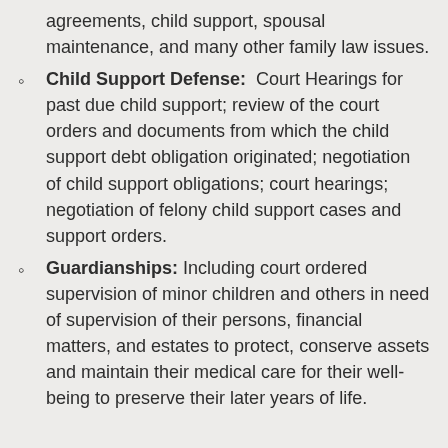agreements, child support, spousal maintenance, and many other family law issues.
Child Support Defense:  Court Hearings for past due child support; review of the court orders and documents from which the child support debt obligation originated; negotiation of child support obligations; court hearings; negotiation of felony child support cases and support orders.
Guardianships: Including court ordered supervision of minor children and others in need of supervision of their persons, financial matters, and estates to protect, conserve assets and maintain their medical care for their well-being to preserve their later years of life.